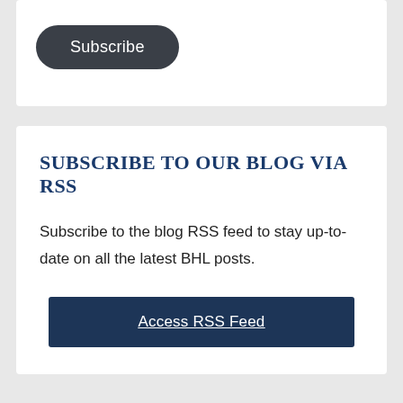[Figure (other): A dark rounded pill-shaped Subscribe button with white text on a white card background.]
SUBSCRIBE TO OUR BLOG VIA RSS
Subscribe to the blog RSS feed to stay up-to-date on all the latest BHL posts.
[Figure (other): A dark navy blue rectangular button labeled 'Access RSS Feed' with underlined white text.]